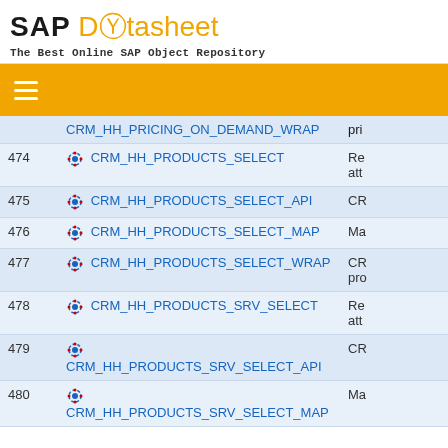SAP Datasheet - The Best Online SAP Object Repository
| # | Name | Description |
| --- | --- | --- |
|  | CRM_HH_PRICING_ON_DEMAND_WRAP | pri... |
| 474 | CRM_HH_PRODUCTS_SELECT | Re... att... |
| 475 | CRM_HH_PRODUCTS_SELECT_API | CR... |
| 476 | CRM_HH_PRODUCTS_SELECT_MAP | Ma... |
| 477 | CRM_HH_PRODUCTS_SELECT_WRAP | CR... pro... |
| 478 | CRM_HH_PRODUCTS_SRV_SELECT | Re... att... |
| 479 | CRM_HH_PRODUCTS_SRV_SELECT_API | CR... |
| 480 | CRM_HH_PRODUCTS_SRV_SELECT_MAP | Ma... |